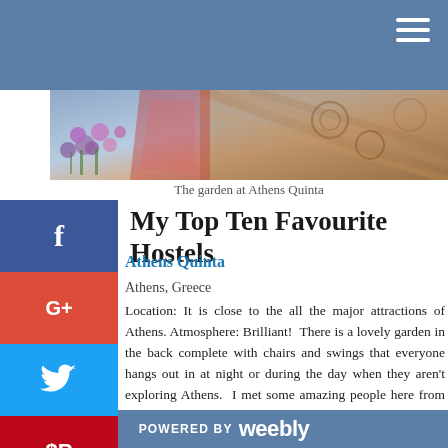[Figure (photo): Hero image showing garden flowers and decorative pattern/fabric at Athens Quinta]
The garden at Athens Quinta
My Top Ten Favourite Hostels
Athens Quinta
Athens, Greece
Location: It is close to the all the major attractions of Athens. Atmosphere: Brilliant! There is a lovely garden in the back complete with chairs and swings that everyone hangs out in at night or during the day when they aren't exploring Athens. I met some amazing people here from Switzerland, Poland, India, and Taiwan. Staff: Really, really lovely. They made me feel like a family member rather than a hostel customer. Upon arrival, they immediately gave us water and cookies, served homemade breakfast for the guests each morning, and were there to help
POWERED BY weebly